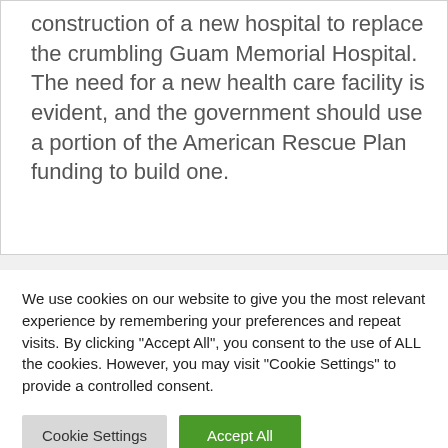construction of a new hospital to replace the crumbling Guam Memorial Hospital. The need for a new health care facility is evident, and the government should use a portion of the American Rescue Plan funding to build one.
We use cookies on our website to give you the most relevant experience by remembering your preferences and repeat visits. By clicking "Accept All", you consent to the use of ALL the cookies. However, you may visit "Cookie Settings" to provide a controlled consent.